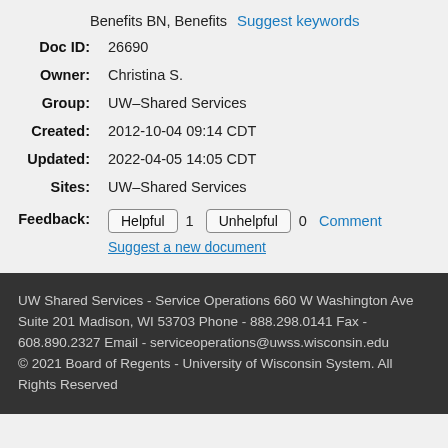Benefits BN, Benefits   Suggest keywords
Doc ID: 26690
Owner: Christina S.
Group: UW–Shared Services
Created: 2012-10-04 09:14 CDT
Updated: 2022-04-05 14:05 CDT
Sites: UW–Shared Services
Feedback: Helpful 1 Unhelpful 0 Comment Suggest a new document
UW Shared Services - Service Operations 660 W Washington Ave Suite 201 Madison, WI 53703 Phone - 888.298.0141 Fax - 608.890.2327 Email - serviceoperations@uwss.wisconsin.edu © 2021 Board of Regents - University of Wisconsin System. All Rights Reserved